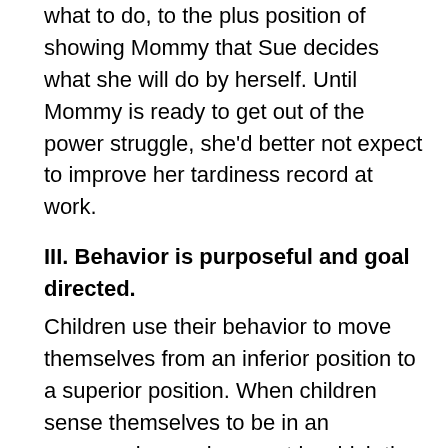what to do, to the plus position of showing Mommy that Sue decides what she will do by herself. Until Mommy is ready to get out of the power struggle, she'd better not expect to improve her tardiness record at work.
III. Behavior is purposeful and goal directed.
Children use their behavior to move themselves from an inferior position to a superior position. When children sense themselves to be in an encouraging environment in which they are given responsibility, their behaviors tend to be cooperative and productive. However, when children sense themselves to be in a position of inferiority where life is out of their control they